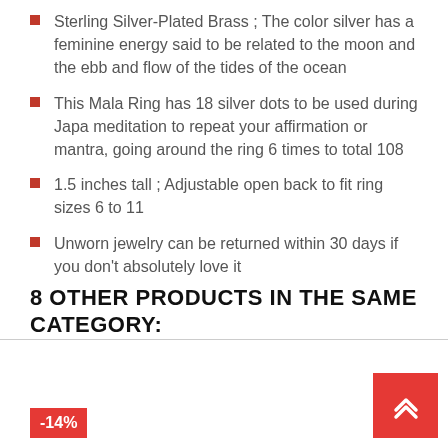Sterling Silver-Plated Brass ; The color silver has a feminine energy said to be related to the moon and the ebb and flow of the tides of the ocean
This Mala Ring has 18 silver dots to be used during Japa meditation to repeat your affirmation or mantra, going around the ring 6 times to total 108
1.5 inches tall ; Adjustable open back to fit ring sizes 6 to 11
Unworn jewelry can be returned within 30 days if you don't absolutely love it
8 OTHER PRODUCTS IN THE SAME CATEGORY:
-14%
[Figure (other): Scroll to top button with double chevron up arrow in red/white]